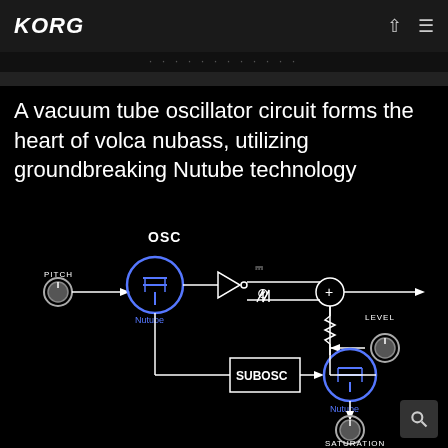KORG
A vacuum tube oscillator circuit forms the heart of volca nubass, utilizing groundbreaking Nutube technology
[Figure (circuit-diagram): Circuit diagram showing OSC (Nutube vacuum tube oscillator) with PITCH knob input, signal path through buffer/inverter, square wave and sawtooth wave outputs feeding into a mixer (+), connected to SUBOSC block feeding another Nutube stage with SATURATION knob input, and LEVEL knob with output arrow.]